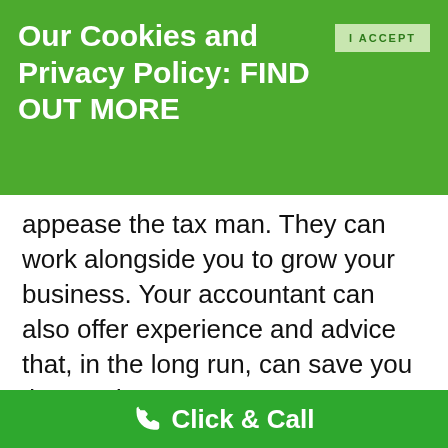Our Cookies and Privacy Policy: FIND OUT MORE
appease the tax man. They can work alongside you to grow your business. Your accountant can also offer experience and advice that, in the long run, can save you time and money.

Even if your tax returns are simple, your accountant will be a sound business
Click & Call